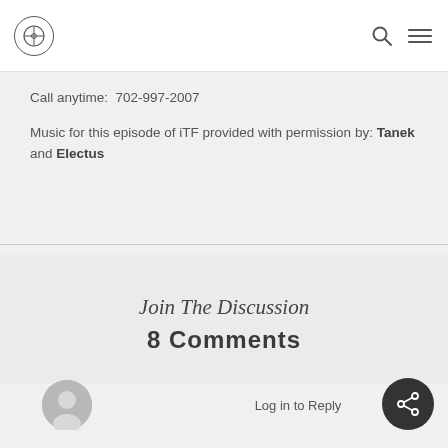Logo / Navigation header with search and menu icons
Call anytime:  702-997-2007
Music for this episode of iTF provided with permission by: Tanek and Electus
Join The Discussion
8 Comments
Log in to Reply